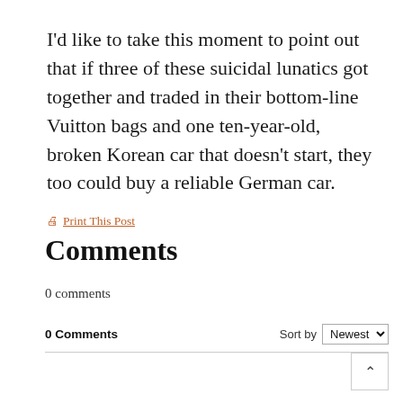I’d like to take this moment to point out that if three of these suicidal lunatics got together and traded in their bottom-line Vuitton bags and one ten-year-old, broken Korean car that doesn’t start, they too could buy a reliable German car.
🗃 Print This Post
Comments
0 comments
0 Comments
Sort by Newest